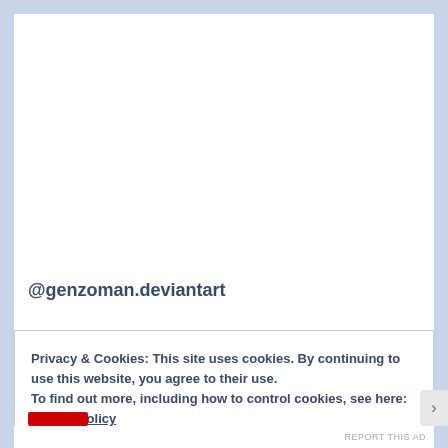@genzoman.deviantart
Privacy & Cookies: This site uses cookies. By continuing to use this website, you agree to their use.
To find out more, including how to control cookies, see here: Cookie Policy
Close and accept
REPORT THIS AD